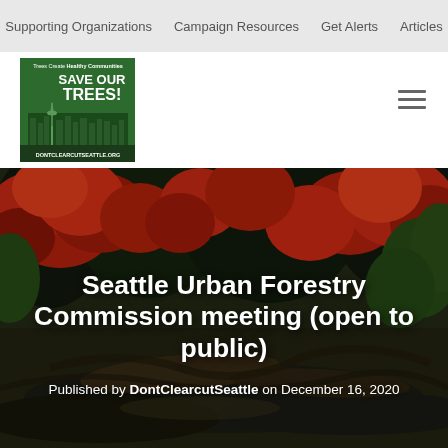Supporting Organizations  Campaign Resources  Get Alerts  Articles
[Figure (logo): DontClearcutSeattle.org logo - green square with Seattle skyline and trees, text 'SAVE OUR TREES!' and 'Trees Create Healthy Communities', 'DONTCLEARCUTSEATTLE.ORG']
[Figure (photo): Forest background photo showing red/autumn foliage and dark green trees with forest floor covered in leaves and roots]
Seattle Urban Forestry Commission meeting (open to public)
Published by DontClearcutSeattle on December 16, 2020